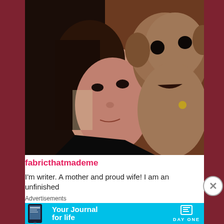[Figure (photo): Selfie photo of a woman with dark hair and dark eyes cheek-to-cheek with a small fluffy brown/tan dog, both facing the camera. Photo has a slightly dark, casual indoor tone.]
fabricthatmademe
I'm writer. A mother and proud wife! I am an unfinished
Advertisements
[Figure (screenshot): Advertisement banner for 'Day One' app with cyan/light blue background. Shows a phone mockup on the left, text 'Your Journal for life' in white bold font, and 'DAY ONE' logo with book icon on the right.]